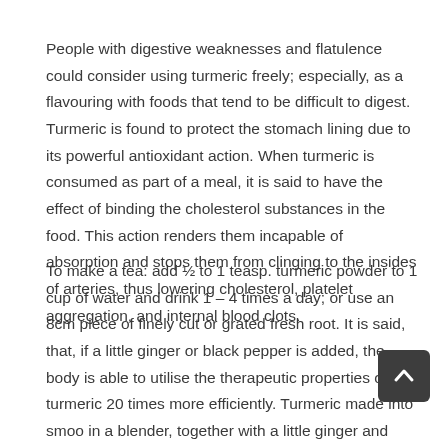People with digestive weaknesses and flatulence could consider using turmeric freely; especially, as a flavouring with foods that tend to be difficult to digest. Turmeric is found to protect the stomach lining due to its powerful antioxidant action. When turmeric is consumed as part of a meal, it is said to have the effect of binding the cholesterol substances in the food. This action renders them incapable of absorption and stops them from clinging to the insides of arteries, thus lowering cholesterol, platelet aggregation, and internal blood clots.
To make a tea: add ½ to 1 teasp. turmeric powder to 1 cup of water and drink 1 – 4 times a day; or use an 8cm piece of finely cut or grated fresh root. It is said, that, if a little ginger or black pepper is added, the body is able to utilise the therapeutic properties of turmeric 20 times more efficiently. Turmeric made into smoo in a blender, together with a little ginger and fresh pineapple (also a digestive aid, pain reliever and immune booster) is a pleasant